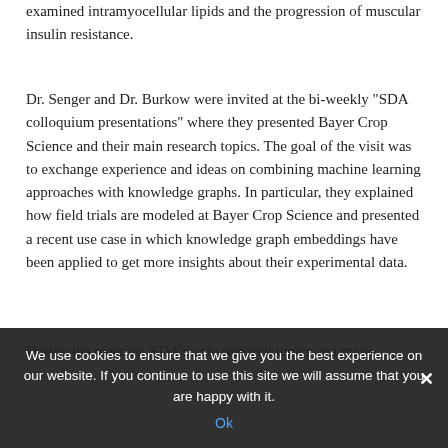examined intramyocellular lipids and the progression of muscular insulin resistance.
Dr. Senger and Dr. Burkow were invited at the bi-weekly "SDA colloquium presentations" where they presented Bayer Crop Science and their main research topics. The goal of the visit was to exchange experience and ideas on combining machine learning approaches with knowledge graphs. In particular, they explained how field trials are modeled at Bayer Crop Science and presented a recent use case in which knowledge graph embeddings have been applied to get more insights about their experimental data.
During the meeting, SDA's core research topics and main ... collaborations between Bayer CropScience and Domain SDA's ... been discussed. Especially, the application of reasoning and inference methods on large scale KGs describing field ...